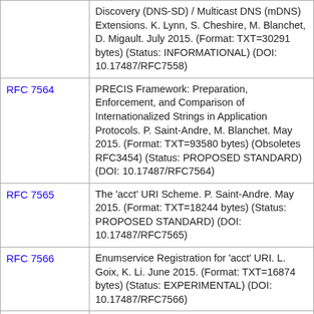| RFC | Description |
| --- | --- |
|  | Discovery (DNS-SD) / Multicast DNS (mDNS) Extensions. K. Lynn, S. Cheshire, M. Blanchet, D. Migault. July 2015. (Format: TXT=30291 bytes) (Status: INFORMATIONAL) (DOI: 10.17487/RFC7558) |
| RFC 7564 | PRECIS Framework: Preparation, Enforcement, and Comparison of Internationalized Strings in Application Protocols. P. Saint-Andre, M. Blanchet. May 2015. (Format: TXT=93580 bytes) (Obsoletes RFC3454) (Status: PROPOSED STANDARD) (DOI: 10.17487/RFC7564) |
| RFC 7565 | The 'acct' URI Scheme. P. Saint-Andre. May 2015. (Format: TXT=18244 bytes) (Status: PROPOSED STANDARD) (DOI: 10.17487/RFC7565) |
| RFC 7566 | Enumservice Registration for 'acct' URI. L. Goix, K. Li. June 2015. (Format: TXT=16874 bytes) (Status: EXPERIMENTAL) (DOI: 10.17487/RFC7566) |
| RFC 7583 | DNSSEC Key Rollover Timing Considerations. S. Morris, J. Ihren, J. Dickinson, W. Mekking. October 2015. (Format: TXT=66442 bytes) (Status: INFORMATIONAL) (DOI: 10.17487/RFC7583) |